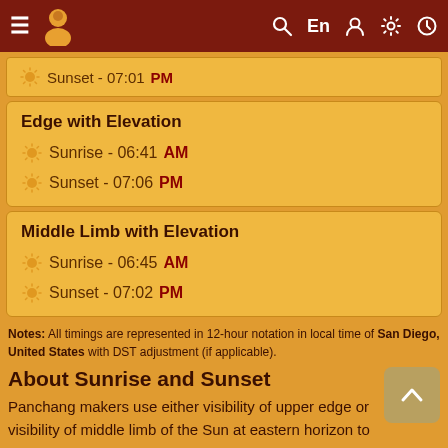Navigation bar with menu, logo, search, En, user, settings, clock icons
Sunset - 07:01 PM
Edge with Elevation
Sunrise - 06:41 AM
Sunset - 07:06 PM
Middle Limb with Elevation
Sunrise - 06:45 AM
Sunset - 07:02 PM
Notes: All timings are represented in 12-hour notation in local time of San Diego, United States with DST adjustment (if applicable).
About Sunrise and Sunset
Panchang makers use either visibility of upper edge or visibility of middle limb of the Sun at eastern horizon to mark the sunrise time used in Panchang. The difference in both timing of Sunrise could be up to few minutes.